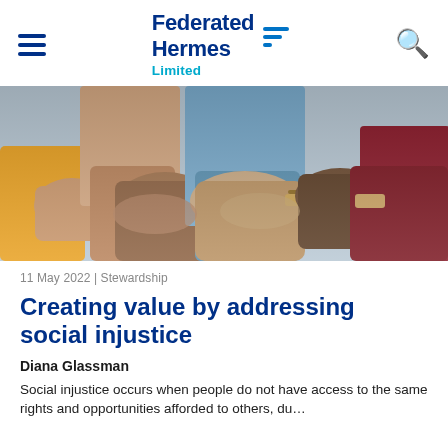Federated Hermes Limited
[Figure (photo): Close-up photo of several people of different ethnicities joining hands together in a circle, symbolizing unity and solidarity. Various clothing colors visible including yellow, beige, blue, and red.]
11 May 2022 | Stewardship
Creating value by addressing social injustice
Diana Glassman
Social injustice occurs when people do not have access to the same rights and opportunities afforded to others, du…